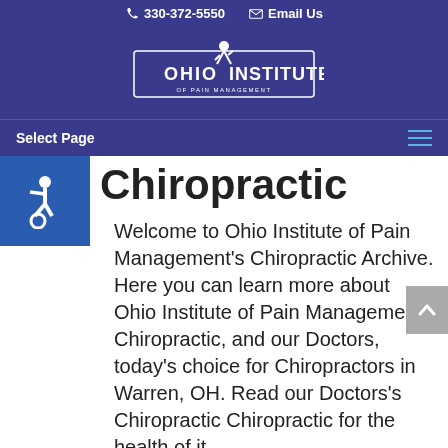330-372-5550  Email Us
[Figure (logo): Ohio Institute of Pain Management logo with figure and rectangular border]
Select Page
Chiropractic
Welcome to Ohio Institute of Pain Management's Chiropractic Archive. Here you can learn more about Ohio Institute of Pain Management, Chiropractic, and our Doctors, today's choice for Chiropractors in Warren, OH. Read our Doctors's Chiropractic Chiropractic for the health of it.